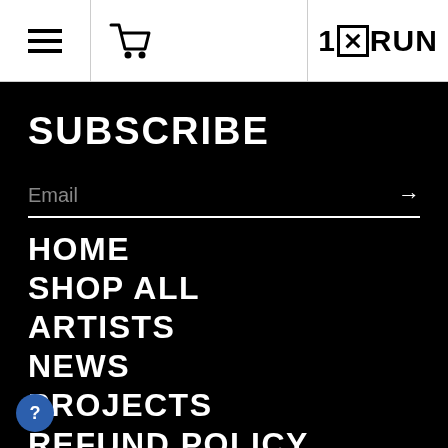☰  🛒  1✕RUN
SUBSCRIBE
Email →
HOME
SHOP ALL
ARTISTS
NEWS
PROJECTS
REFUND POLICY
ABOUT